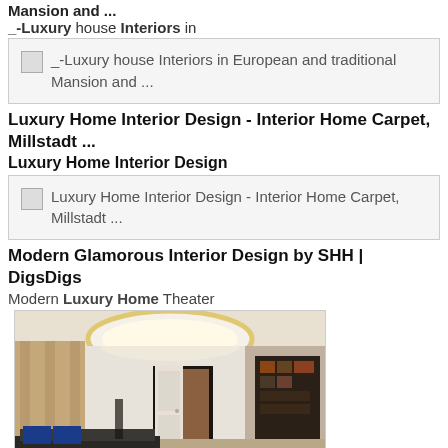Mansion and ...
_-Luxury house Interiors in
[Figure (screenshot): Image placeholder showing _-Luxury house Interiors in European and traditional Mansion and ...]
Luxury Home Interior Design - Interior Home Carpet, Millstadt ...
Luxury Home Interior Design
[Figure (screenshot): Image placeholder showing Luxury Home Interior Design - Interior Home Carpet, Millstadt ...]
Modern Glamorous Interior Design by SHH | DigsDigs
Modern Luxury Home Theater
[Figure (photo): Photo of a modern luxury home theater room with oval ceiling light, white walls, curtains, and blue accent pillows on dark sofas.]